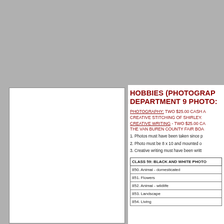HOBBIES (PHOTOGRAPHY DEPARTMENT 9 PHOTOS
PHOTOGRAPHY: TWO $25.00 CASH AWARDS CREATIVE STITCHING OF SHIRLEY. CREATIVE WRITING - TWO $25.00 CA THE VAN BUREN COUNTY FAIR BOA
1. Photos must have been taken since p
2. Photo must be 8 x 10 and mounted o
3. Creative writing must have been writt
| CLASS 59: BLACK AND WHITE PHOTO |
| --- |
| 850. Animal - domesticated |
| 851. Flowers |
| 852. Animal - wildlife |
| 853. Landscape |
| 854. Living |